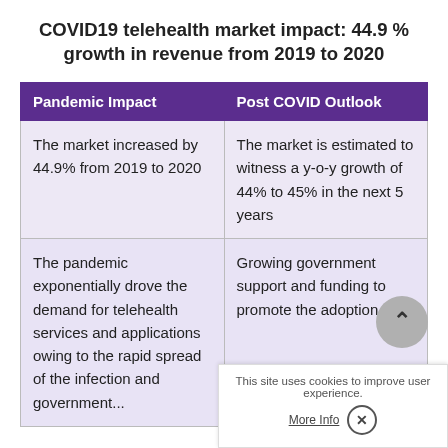COVID19 telehealth market impact: 44.9 % growth in revenue from 2019 to 2020
| Pandemic Impact | Post COVID Outlook |
| --- | --- |
| The market increased by 44.9% from 2019 to 2020 | The market is estimated to witness a y-o-y growth of 44% to 45% in the next 5 years |
| The pandemic exponentially drove the demand for telehealth services and applications owing to the rapid spread of the infection and government... | Growing government support and funding to promote the adoption of innovative services and... |